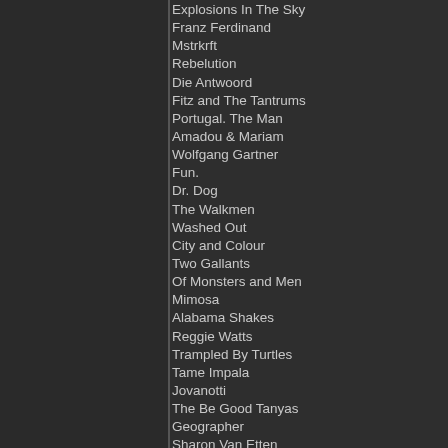Explosions In The Sky
Franz Ferdinand
Mstrkrft
Rebelution
Die Antwoord
Fitz and The Tantrums
Portugal. The Man
Amadou & Mariam
Wolfgang Gartner
Fun.
Dr. Dog
The Walkmen
Washed Out
City and Colour
Two Gallants
Of Monsters and Men
Mimosa
Alabama Shakes
Reggie Watts
Trampled By Turtles
Tame Impala
Jovanotti
The Be Good Tanyas
Geographer
Sharon Van Etten
Yacht
Sean Hayes
Bomba Estereo
Dirty Dozen Brass Band
Big Gigantic